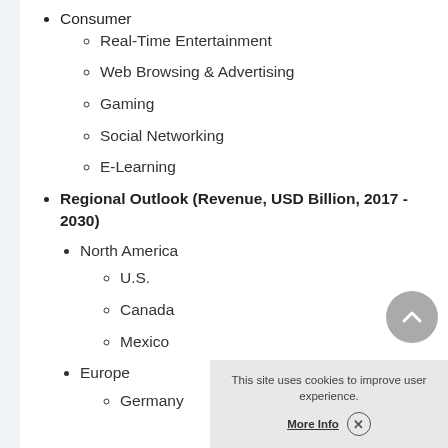Consumer
Real-Time Entertainment
Web Browsing & Advertising
Gaming
Social Networking
E-Learning
Regional Outlook (Revenue, USD Billion, 2017 - 2030)
North America
U.S.
Canada
Mexico
Europe
Germany